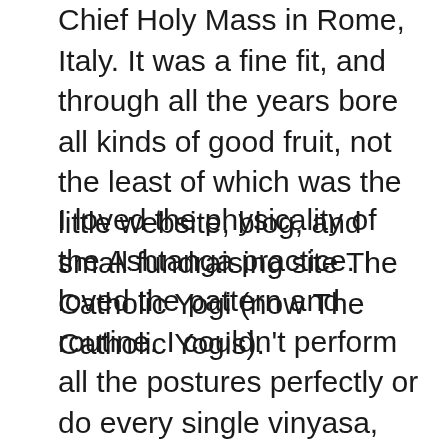Chief Holy Mass in Rome, Italy. It was a fine fit, and through all the years bore all kinds of good fruit, not the least of which was the little website, blog, and small fundraising site The Catholic Yogi (now The Catholic Yogis).
I loved the physicality of the Ashtanga practice. I loved the pattern and routine. I couldn't perform all the postures perfectly or do every single vinyasa, practice 90 minutes a day, 6 days a week, but I sure tried. And when I failed, I buried my head in the sand, pretended it was fine, told myself it was okay, and didn't believe myself one bit when I said it. I had four babies by c-section over the course of 8 years, did more pilates than primary series, didn't have a separate meditation practice, didn't have a separate pranayama practice, told myself it was okay that I wasn't "doing all the practices exactly as prescribed, super-correctly, most auspiciously" and I didn't believe myself for one second.